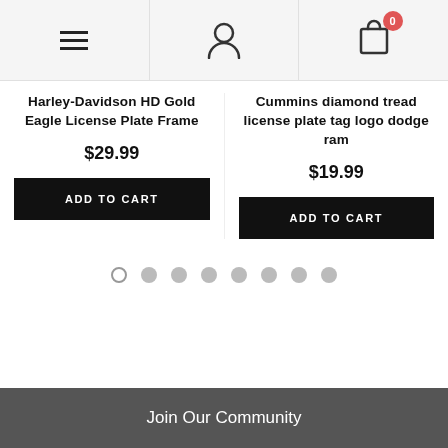Navigation header with hamburger menu, person icon, and cart with badge 0
Harley-Davidson HD Gold Eagle License Plate Frame
$29.99
ADD TO CART
Cummins diamond tread license plate tag logo dodge ram
$19.99
ADD TO CART
[Figure (other): Carousel pagination dots, 8 dots total, first one is outlined/active, rest are filled gray]
Join Our Community